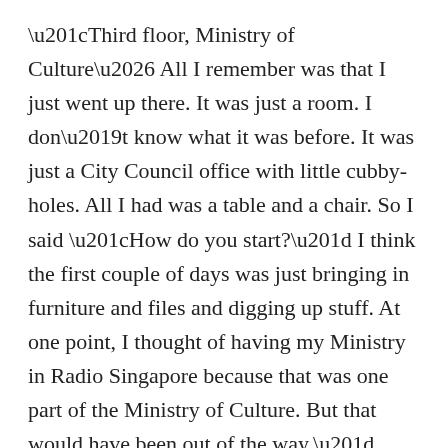“Third floor, Ministry of Culture… All I remember was that I just went up there. It was just a room. I don’t know what it was before. It was just a City Council office with little cubby-holes. All I had was a table and a chair. So I said “How do you start?” I think the first couple of days was just bringing in furniture and files and digging up stuff. At one point, I thought of having my Ministry in Radio Singapore because that was one part of the Ministry of Culture. But that would have been out of the way.”